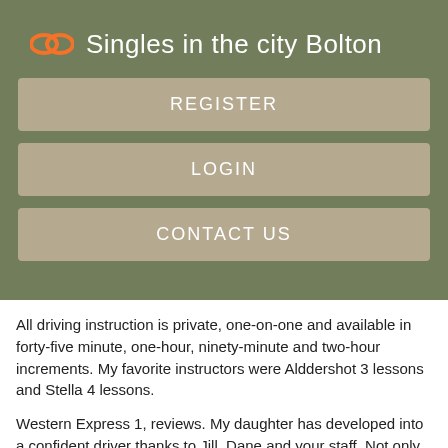Singles in the city Bolton
REGISTER
LOGIN
CONTACT US
All driving instruction is private, one-on-one and available in forty-five minute, one-hour, ninety-minute and two-hour increments. My favorite instructors were Alddershot 3 lessons and Stella 4 lessons.
Western Express 1, reviews. My daughter has developed into a confident driver thanks to Jill, Dane and your staff. Not only will you be better prepared for your Traniing road test, but you'll also be ready to take on the responsibilities of new driver.